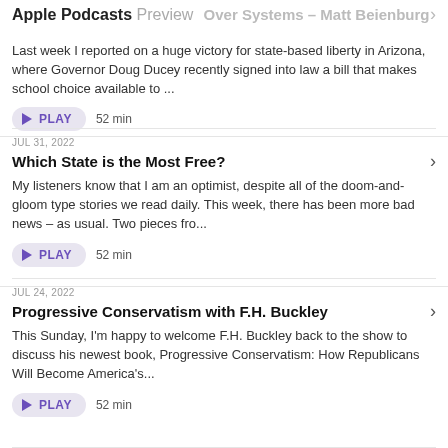Apple Podcasts Preview
AUG 7, 2022
Over Systems – Matt Beienburg
Last week I reported on a huge victory for state-based liberty in Arizona, where Governor Doug Ducey recently signed into law a bill that makes school choice available to ...
PLAY  52 min
JUL 31, 2022
Which State is the Most Free?
My listeners know that I am an optimist, despite all of the doom-and-gloom type stories we read daily. This week, there has been more bad news – as usual. Two pieces fro...
PLAY  52 min
JUL 24, 2022
Progressive Conservatism with F.H. Buckley
This Sunday, I'm happy to welcome F.H. Buckley back to the show to discuss his newest book, Progressive Conservatism: How Republicans Will Become America's...
PLAY  52 min